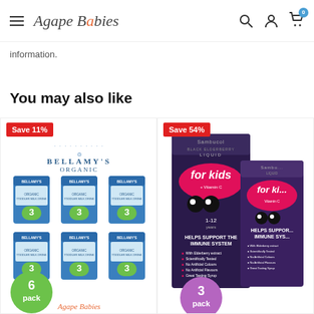Agape Babies — navigation header with hamburger menu, search, account, and cart icons
information.
You may also like
[Figure (photo): Bellamy's Organic product with Save 11% badge — 6-pack of Bellamy's Organic formula cans (6 cans arranged in 2 rows of 3), with a green '6 pack' circle badge and Agape Babies watermark]
[Figure (photo): Sambucol product with Save 54% badge — 3-pack of Sambucol Black Elderberry Liquid For Kids with Vitamin C boxes, with a purple '3 pack' circle badge]